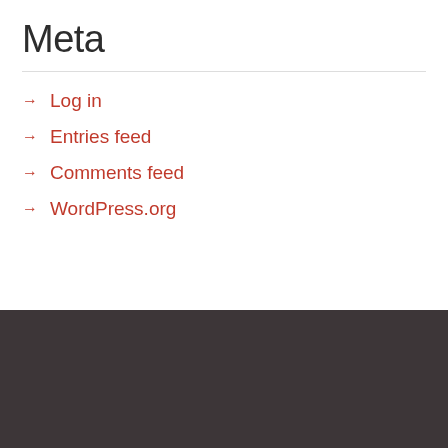Meta
Log in
Entries feed
Comments feed
WordPress.org